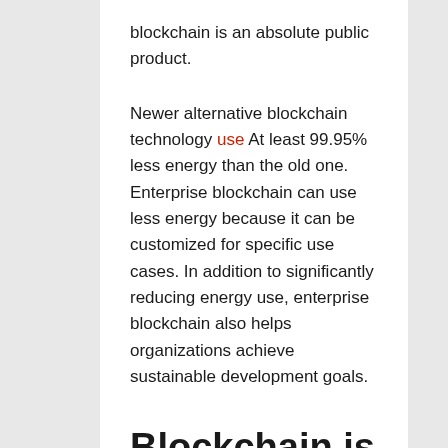blockchain is an absolute public product.
Newer alternative blockchain technology use At least 99.95% less energy than the old one. Enterprise blockchain can use less energy because it can be customized for specific use cases. In addition to significantly reducing energy use, enterprise blockchain also helps organizations achieve sustainable development goals.
Blockchain is a key driver of renewable energy